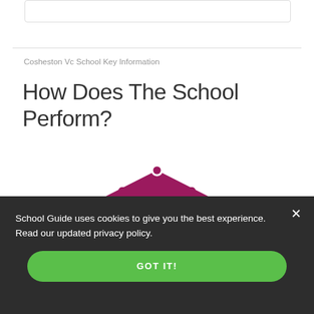Cosheston Vc School Key Information
How Does The School Perform?
[Figure (logo): Magenta/dark pink graduation cap icon with a cartoon student face below it — a stylized school guide mascot logo]
School Guide uses cookies to give you the best experience. Read our updated privacy policy.
GOT IT!